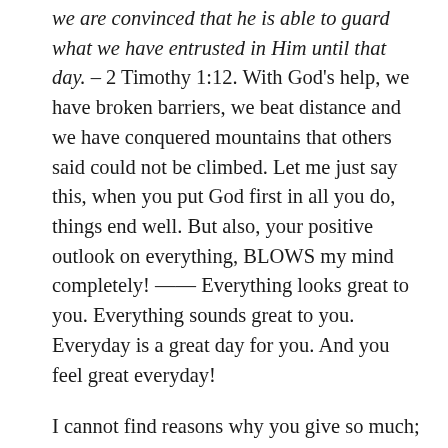we are convinced that he is able to guard what we have entrusted in Him until that day. – 2 Timothy 1:12. With God's help, we have broken barriers, we beat distance and we have conquered mountains that others said could not be climbed. Let me just say this, when you put God first in all you do, things end well. But also, your positive outlook on everything, BLOWS my mind completely! —— Everything looks great to you. Everything sounds great to you. Everyday is a great day for you. And you feel great everyday!
I cannot find reasons why you give so much; why you love so much; why you keep such great and positive attitude. I hope in the years to come, I feel half as great as you feel every morning. I may not share much about our relationship on social media